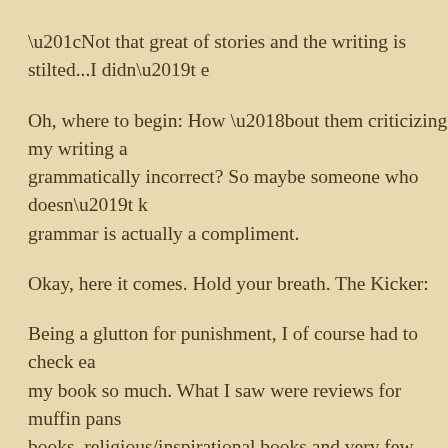“Not that great of stories and the writing is stilted...I didn’t e
Oh, where to begin: How ‘bout them criticizing my writing a grammatically incorrect? So maybe someone who doesn’t k grammar is actually a compliment.
Okay, here it comes. Hold your breath. The Kicker:
Being a glutton for punishment, I of course had to check ea my book so much. What I saw were reviews for muffin pans books, religious/inspirational books and very few mystery b I wondered why they even bought my book…if they really c could have told them they wouldn’t like it and would have s money.
It made no sense to me why they would even read a book l agenda going on. I called this to Amazon’s attention, asking they wouldn’t. I still think there was some kind of agenda ha exactly what the motivation is and these are the kind of rev